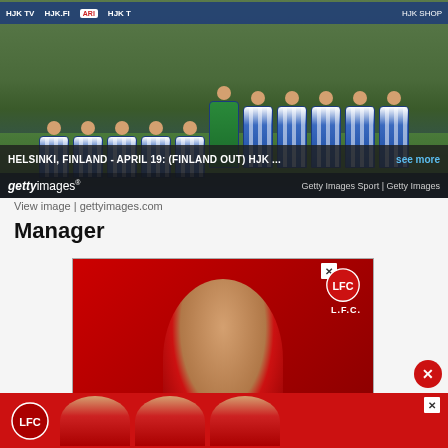[Figure (photo): HJK football team photo on grass pitch, players in blue and white striped kits, one goalkeeper in green, posing in two rows]
HELSINKI, FINLAND - APRIL 19: (FINLAND OUT) HJK ... see more
Getty Images Sport | Getty Images
View image | gettyimages.com
Manager
[Figure (photo): Liverpool FC (LFC) advertisement showing a player in red kit smiling and waving, with LFC logo]
[Figure (photo): Liverpool FC advertisement banner at bottom showing multiple players in red LFC kits]